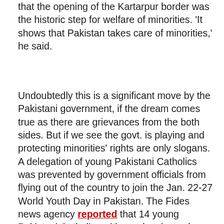that the opening of the Kartarpur border was the historic step for welfare of minorities. 'It shows that Pakistan takes care of minorities,' he said.
Undoubtedly this is a significant move by the Pakistani government, if the dream comes true as there are grievances from the both sides. But if we see the govt. is playing and protecting minorities' rights are only slogans. A delegation of young Pakistani Catholics was prevented by government officials from flying out of the country to join the Jan. 22-27 World Youth Day in Pakistan. The Fides news agency reported that 14 young Pakistani Catholics with regular visas who